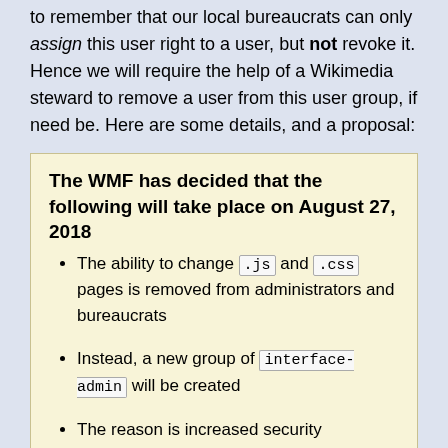to remember that our local bureaucrats can only assign this user right to a user, but not revoke it. Hence we will require the help of a Wikimedia steward to remove a user from this user group, if need be. Here are some details, and a proposal:
The WMF has decided that the following will take place on August 27, 2018
The ability to change .js and .css pages is removed from administrators and bureaucrats
Instead, a new group of interface-admin will be created
The reason is increased security
We need a plan for how we intend to handle this. Here's my proposal